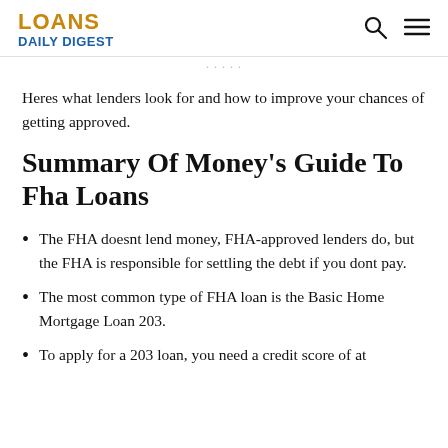LOANS DAILY DIGEST
Heres what lenders look for and how to improve your chances of getting approved.
Summary Of Money's Guide To Fha Loans
The FHA doesnt lend money, FHA-approved lenders do, but the FHA is responsible for settling the debt if you dont pay.
The most common type of FHA loan is the Basic Home Mortgage Loan 203.
To apply for a 203 loan, you need a credit score of at